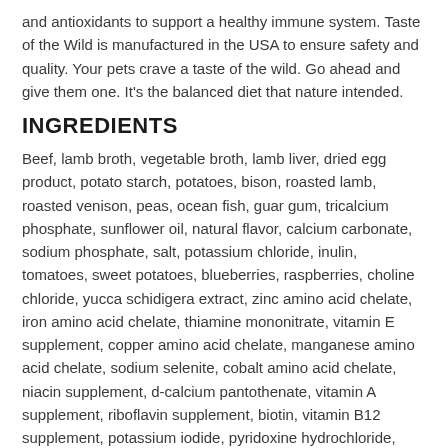and antioxidants to support a healthy immune system. Taste of the Wild is manufactured in the USA to ensure safety and quality. Your pets crave a taste of the wild. Go ahead and give them one. It's the balanced diet that nature intended.
INGREDIENTS
Beef, lamb broth, vegetable broth, lamb liver, dried egg product, potato starch, potatoes, bison, roasted lamb, roasted venison, peas, ocean fish, guar gum, tricalcium phosphate, sunflower oil, natural flavor, calcium carbonate, sodium phosphate, salt, potassium chloride, inulin, tomatoes, sweet potatoes, blueberries, raspberries, choline chloride, yucca schidigera extract, zinc amino acid chelate, iron amino acid chelate, thiamine mononitrate, vitamin E supplement, copper amino acid chelate, manganese amino acid chelate, sodium selenite, cobalt amino acid chelate, niacin supplement, d-calcium pantothenate, vitamin A supplement, riboflavin supplement, biotin, vitamin B12 supplement, potassium iodide, pyridoxine hydrochloride, vitamin D3 supplement, folic acid.